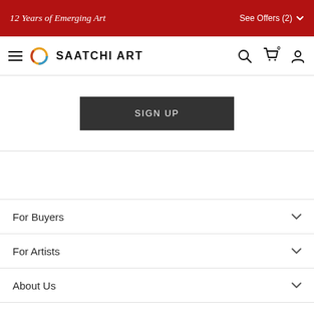12 Years of Emerging Art   See Offers (2)
[Figure (logo): Saatchi Art logo with colored ring and bold text SAATCHI ART, hamburger menu, search, cart, and user icons in navigation bar]
SIGN UP
For Buyers
For Artists
About Us